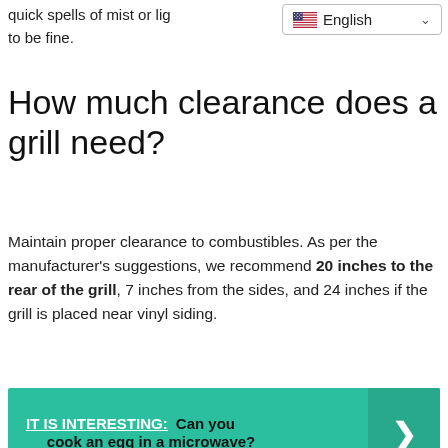quick spells of mist or lig... to be fine.
[Figure (other): Language selector dropdown showing English with US flag]
How much clearance does a grill need?
Maintain proper clearance to combustibles. As per the manufacturer’s suggestions, we recommend 20 inches to the rear of the grill, 7 inches from the sides, and 24 inches if the grill is placed near vinyl siding.
[Figure (infographic): Teal call-to-action banner: IT IS INTERESTING: Can you cook an egg in a microwave? with right arrow]
What happens if my grill gets rained on?